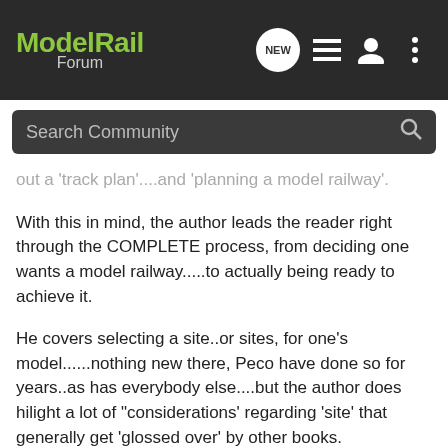ModelRail Forum
Search Community
out a 'track plan'....and 'planning a model railway'.
With this in mind, the author leads the reader right through the COMPLETE process, from deciding one wants a model railway.....to actually being ready to achieve it.
He covers selecting a site..or sites, for one's model......nothing new there, Peco have done so for years..as has everybody else....but the author does hilight a lot of "considerations' regarding 'site' that generally get 'glossed over' by other books.
Although based on personal experience, the author tries to forewarn of pitfalls which can lead to cessation of interest.
PLUS, he suggests ideas for sites that most others seem to